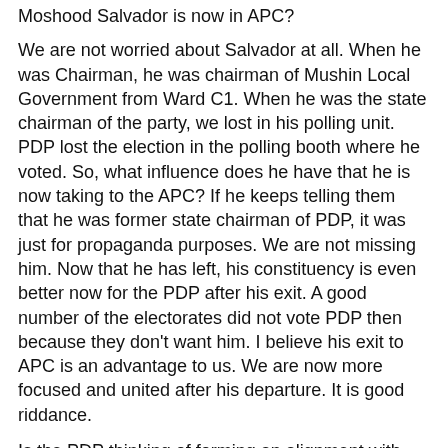Are you not worried given the fact your predecessor, Moshood Salvador is now in APC?
We are not worried about Salvador at all. When he was Chairman, he was chairman of Mushin Local Government from Ward C1. When he was the state chairman of the party, we lost in his polling unit. PDP lost the election in the polling booth where he voted. So, what influence does he have that he is now taking to the APC? If he keeps telling them that he was former state chairman of PDP, it was just for propaganda purposes. We are not missing him. Now that he has left, his constituency is even better now for the PDP after his exit. A good number of the electorates did not vote PDP then because they don't want him. I believe his exit to APC is an advantage to us. We are now more focused and united after his departure. It is good riddance.
Is the PDP thinking of forming an alignment with other smaller parties?
I have some experience with these smaller parties. A good number of these parties are just one-family party with just five or six members. In 2011, I brought together about 26...